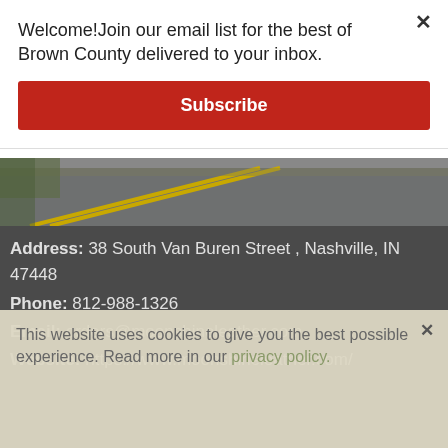Welcome!Join our email list for the best of Brown County delivered to your inbox.
Subscribe
[Figure (photo): Road surface photo showing yellow center line markings on asphalt, taken from an angle.]
Address: 38 South Van Buren Street , Nashville, IN 47448
Phone: 812-988-1326
Email: orders@moonshineleather.com
Website: https://www.moonshineleather.com/
This website uses cookies to give you the best possible experience. Read more in our privacy policy.